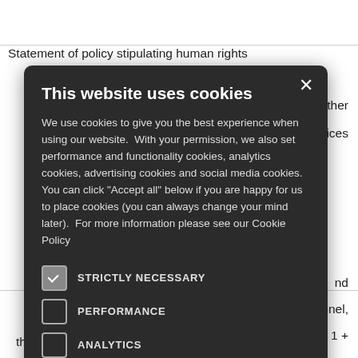Statement of policy stipulating human rights
tners and other
ducts or services
nd
to all personnel,
rties (BRE 1 +
etices
ive monitoring an rights
ctivities that the
COP to fulfill
this criterion, including goals, timelines, metrics, and
[Figure (screenshot): Cookie consent dialog overlay on a dark background (#2b2b2b). Contains title 'This website uses cookies', explanatory text, and checkboxes: STRICTLY NECESSARY (checked), PERFORMANCE (unchecked), ANALYTICS (unchecked), FUNCTIONALITY (unchecked), SOCIAL MEDIA (unchecked). Has an X close button in the top right.]